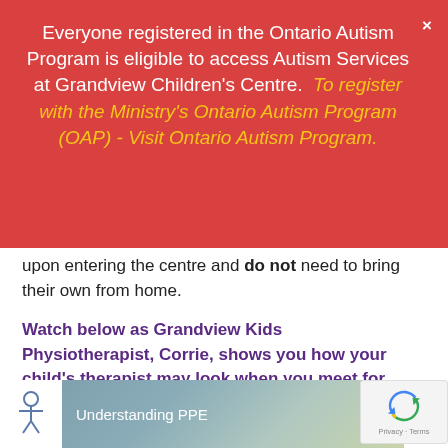Everyone registered in the Ontario Autism Program is eligible to access Autism Services at Grandview Children's Centre.  To register with the Ministry's Ontario Autism Program (OAP) - Visit Ontario Autism Program.
upon entering the centre and do not need to bring their own from home.
Watch below as Grandview Kids Physiotherapist, Corrie, shows you how your child's therapist may look when you meet for an in-person therapy appointment.
[Figure (screenshot): Video thumbnail showing 'Understanding PPE' with a child figure logo icon on white background and blurred background scene]